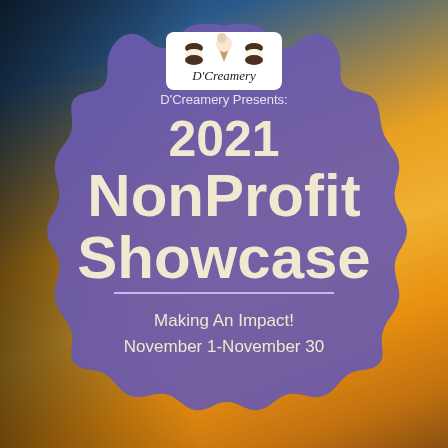[Figure (photo): Background photo of a person with arms raised against a warm golden sunset sky, with dark silhouette on the left side.]
[Figure (logo): D'Creamery logo: white rounded rectangle containing three ice cream icons and the text D'Creamery in italic serif font.]
D'Creamery Presents:
2021 NonProfit Showcase
Making An Impact!
November 1-November 30